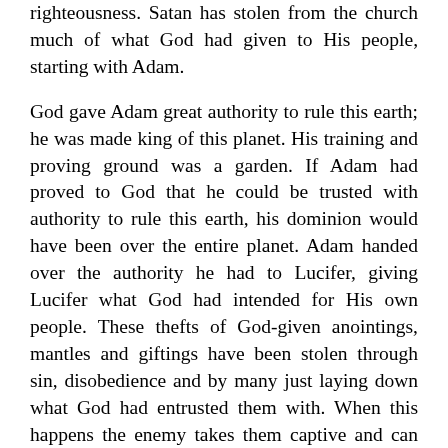righteousness. Satan has stolen from the church much of what God had given to His people, starting with Adam.
God gave Adam great authority to rule this earth; he was made king of this planet. His training and proving ground was a garden. If Adam had proved to God that he could be trusted with authority to rule this earth, his dominion would have been over the entire planet. Adam handed over the authority he had to Lucifer, giving Lucifer what God had intended for His own people. These thefts of God-given anointings, mantles and giftings have been stolen through sin, disobedience and by many just laying down what God had entrusted them with. When this happens the enemy takes them captive and can use these for his satanic purposes. I saw many things that Satan had in his trophy cabinets